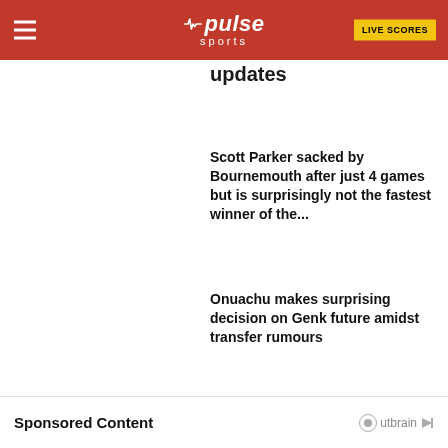Pulse Sports — LIVE SCORES
updates
Scott Parker sacked by Bournemouth after just 4 games but is surprisingly not the fastest winner of the...
Onuachu makes surprising decision on Genk future amidst transfer rumours
Sponsored Content — Outbrain